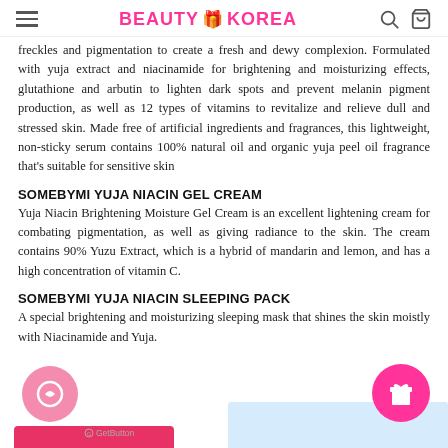BEAUTY 🎁 KOREA
freckles and pigmentation to create a fresh and dewy complexion. Formulated with yuja extract and niacinamide for brightening and moisturizing effects, glutathione and arbutin to lighten dark spots and prevent melanin pigment production, as well as 12 types of vitamins to revitalize and relieve dull and stressed skin. Made free of artificial ingredients and fragrances, this lightweight, non-sticky serum contains 100% natural oil and organic yuja peel oil fragrance that's suitable for sensitive skin
SOMEBYMI YUJA NIACIN GEL CREAM
Yuja Niacin Brightening Moisture Gel Cream is an excellent lightening cream for combating pigmentation, as well as giving radiance to the skin. The cream contains 90% Yuzu Extract, which is a hybrid of mandarin and lemon, and has a high concentration of vitamin C.
SOMEBYMI YUJA NIACIN SLEEPING PACK
A special brightening and moisturizing sleeping mask that shines the skin moistly with Niacinamide and Yuja.